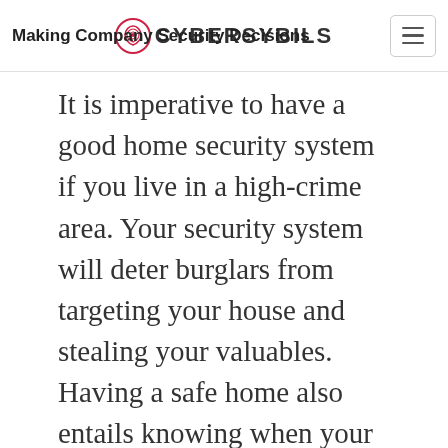Making Company Security Decisions
It is imperative to have a good home security system if you live in a high-crime area. Your security system will deter burglars from targeting your house and stealing your valuables. Having a safe home also entails knowing when your house is on fire to call for help before the fire destroys all your property. Some people assume that installing